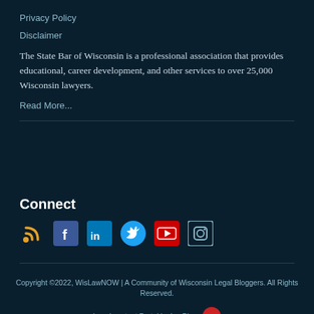Privacy Policy
Disclaimer
The State Bar of Wisconsin is a professional association that provides educational, career development, and other services to over 25,000 Wisconsin lawyers.
Read More...
Connect
[Figure (infographic): Social media icons: RSS feed (orange), Facebook (blue), LinkedIn (blue), Twitter (blue), YouTube (red), Instagram (outlined)]
Copyright ©2022, WisLawNOW | A Community of Wisconsin Legal Bloggers. All Rights Reserved.
Legal content Portal by LexBlog